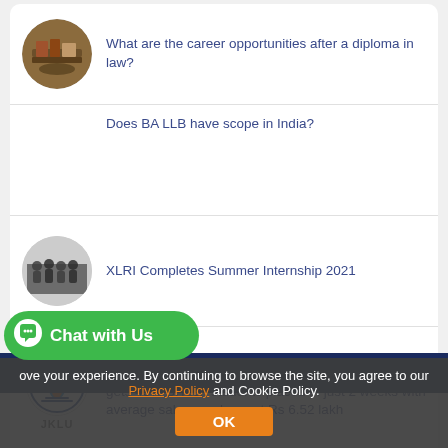What are the career opportunities after a diploma in law?
Does BA LLB have scope in India?
XLRI Completes Summer Internship 2021
JK Lakshmipat University creates new milestone; gets 43% B.Tech students placed in just 2 weeks with average salary package at Rs 6.52 lakh
ove your experience. By continuing to browse the site, you agree to our Privacy Policy and Cookie Policy.
Chat with Us
OK